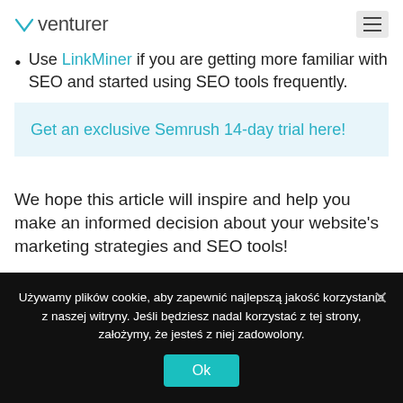venturer
Use LinkMiner if you are getting more familiar with SEO and started using SEO tools frequently.
Get an exclusive Semrush 14-day trial here!
We hope this article will inspire and help you make an informed decision about your website's marketing strategies and SEO tools!
Używamy plików cookie, aby zapewnić najlepszą jakość korzystania z naszej witryny. Jeśli będziesz nadal korzystać z tej strony, założymy, że jesteś z niej zadowolony. Ok